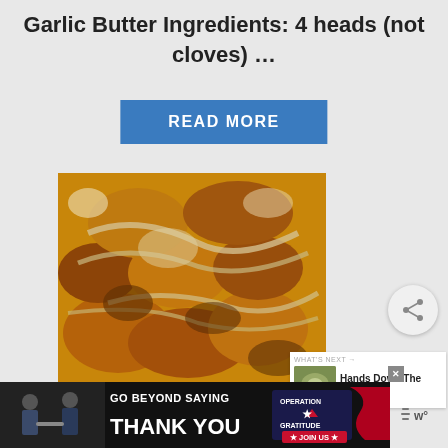Garlic Butter Ingredients: 4 heads (not cloves) …
READ MORE
[Figure (photo): Close-up photo of cooked food pieces with garlic butter sauce, showing caramelized chunks of meat or vegetables with melted sauce]
[Figure (infographic): Operation Gratitude advertisement banner: GO BEYOND SAYING THANK YOU, with a star logo and JOIN US button]
WHAT'S NEXT → Hands Down The Best Ca...